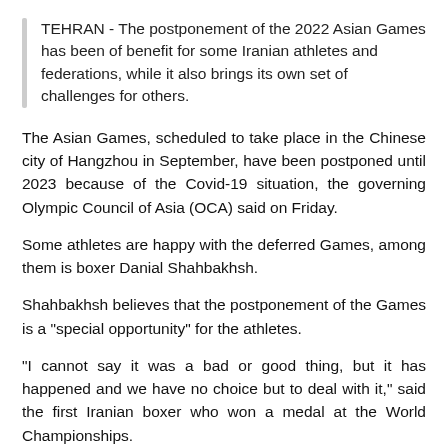TEHRAN - The postponement of the 2022 Asian Games has been of benefit for some Iranian athletes and federations, while it also brings its own set of challenges for others.
The Asian Games, scheduled to take place in the Chinese city of Hangzhou in September, have been postponed until 2023 because of the Covid-19 situation, the governing Olympic Council of Asia (OCA) said on Friday.
Some athletes are happy with the deferred Games, among them is boxer Danial Shahbakhsh.
Shahbakhsh believes that the postponement of the Games is a "special opportunity" for the athletes.
"I cannot say it was a bad or good thing, but it has happened and we have no choice but to deal with it," said the first Iranian boxer who won a medal at the World Championships.